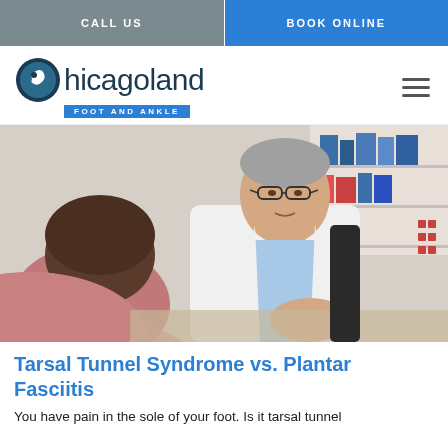CALL US | BOOK ONLINE
[Figure (logo): Chicagoland Foot and Ankle logo with circular foot icon]
[Figure (photo): A senior male doctor in a white coat speaking with a patient across a desk in a medical office setting]
Tarsal Tunnel Syndrome vs. Plantar Fasciitis
You have pain in the sole of your foot. Is it tarsal tunnel